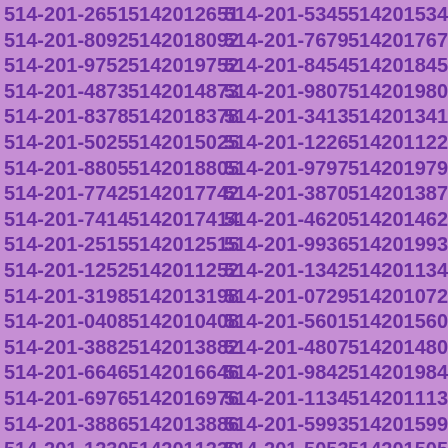514-201-2651 5142012651 514-201-5345 5142015345 514-201-8092 5142018092 514-201-7679 5142017679 514-201-9752 5142019752 514-201-8454 5142018454 514-201-4873 5142014873 514-201-9807 5142019807 514-201-8378 5142018378 514-201-3413 5142013413 514-201-5025 5142015025 514-201-1226 5142011226 514-201-8805 5142018805 514-201-9797 5142019797 514-201-7742 5142017742 514-201-3870 5142013870 514-201-7414 5142017414 514-201-4620 5142014620 514-201-2515 5142012515 514-201-9936 5142019936 514-201-1252 5142011252 514-201-1342 5142011342 514-201-3198 5142013198 514-201-0729 5142010729 514-201-0408 5142010408 514-201-5601 5142015601 514-201-3882 5142013882 514-201-4807 5142014807 514-201-6646 5142016646 514-201-9842 5142019842 514-201-6976 5142016976 514-201-1134 5142011134 514-201-3886 5142013886 514-201-5993 5142015993 514-201-1230 5142011230 514-201-5053 5142015053 514-201-2524 5142012524 514-201-7552 5142017552 514-201-4558 5142014558 514-201-1979 5142011979 514-201-1731 5142011731 514-201-4086 5142014086